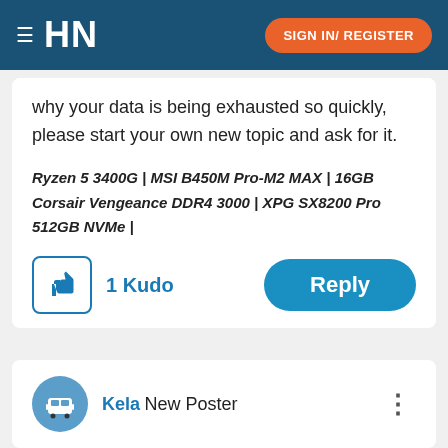HN  SIGN IN/ REGISTER
why your data is being exhausted so quickly, please start your own new topic and ask for it.
Ryzen 5 3400G | MSI B450M Pro-M2 MAX | 16GB Corsair Vengeance DDR4 3000 | XPG SX8200 Pro 512GB NVMe |
1 Kudo   Reply
Kela New Poster